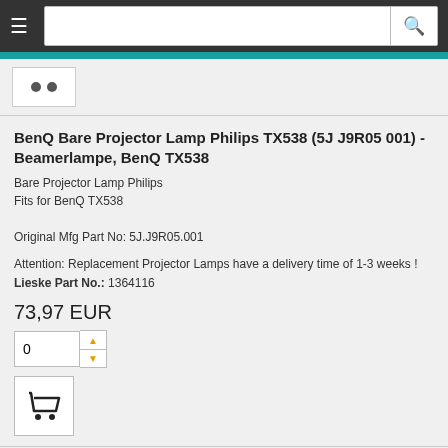≡ [search bar] 🔍
[Figure (other): Product thumbnail with two dots]
BenQ Bare Projector Lamp Philips TX538 (5J J9R05 001) - Beamerlampe, BenQ TX538
Bare Projector Lamp Philips
Fits for BenQ TX538
Original Mfg Part No: 5J.J9R05.001
Attention: Replacement Projector Lamps have a delivery time of 1-3 weeks !
Lieske Part No.: 1364116
73,97 EUR
BenQ Projector Lamp Module TX762ST (5J J3J05 001) - Beamerlampe, BenQ TX762ST
Projector Lamp Module
Fits for BenQ TX762ST
Wattage: 300 watts
Original Mfg Part No: 5J.J3J05.001